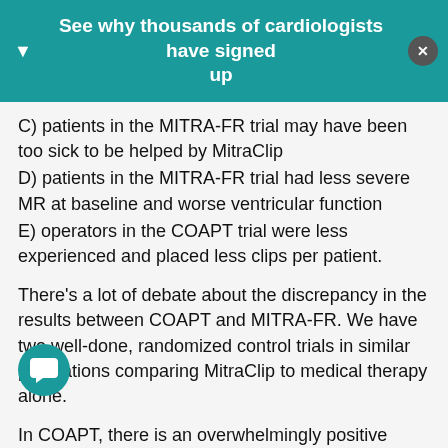See why thousands of cardiologists have signed up
C) patients in the MITRA-FR trial may have been too sick to be helped by MitraClip
D) patients in the MITRA-FR trial had less severe MR at baseline and worse ventricular function
E) operators in the COAPT trial were less experienced and placed less clips per patient.
There’s a lot of debate about the discrepancy in the results between COAPT and MITRA-FR. We have two well-done, randomized control trials in similar populations comparing MitraClip to medical therapy alone.
In COAPT, there is an overwhelmingly positive result for the use of MitraClip in helping to reduce heart failure hospitalizations and mortality in these patients with severe functional mitral valve regurgitation.